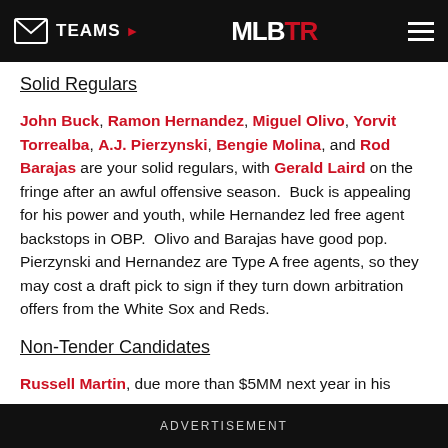TEAMS  MLBTR
Solid Regulars
John Buck, Ramon Hernandez, Miguel Olivo, Yorvit Torrealba, A.J. Pierzynski, Bengie Molina, and Rod Barajas are your solid regulars, with Gerald Laird on the fringe after an awful offensive season.  Buck is appealing for his power and youth, while Hernandez led free agent backstops in OBP.  Olivo and Barajas have good pop.  Pierzynski and Hernandez are Type A free agents, so they may cost a draft pick to sign if they turn down arbitration offers from the White Sox and Reds.
Non-Tender Candidates
Russell Martin, due more than $5MM next year in his third year of arbitration, could be non-tendered by the Dodgers if
ADVERTISEMENT